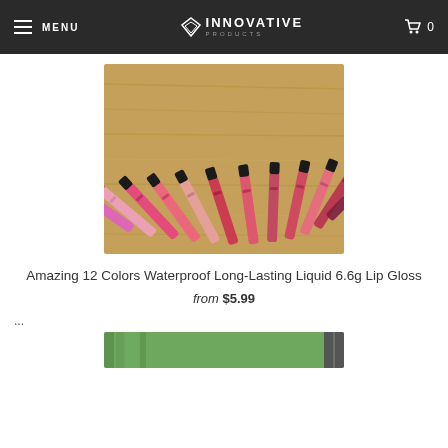MENU | INNOVATIVE PRODUCTS | 0
[Figure (photo): Photo of 12 lip gloss tubes in shades of pink and red arranged in a fan pattern on a wooden surface]
Amazing 12 Colors Waterproof Long-Lasting Liquid 6.6g Lip Gloss
from $5.99
...
[Figure (photo): Partial view of another product photo at the bottom of the page]